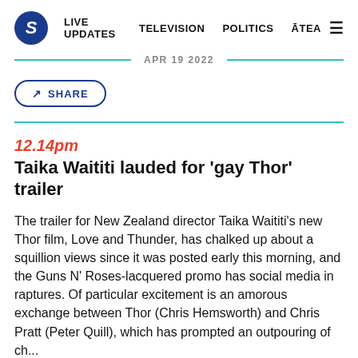S  LIVE UPDATES  TELEVISION  POLITICS  ĀTEA
APR 19 2022
SHARE
12.14pm
Taika Waititi lauded for 'gay Thor' trailer
The trailer for New Zealand director Taika Waititi's new Thor film, Love and Thunder, has chalked up about a squillion views since it was posted early this morning, and the Guns N' Roses-lacquered promo has social media in raptures. Of particular excitement is an amorous exchange between Thor (Chris Hemsworth) and Chris Pratt (Peter Quill), which has prompted an outpouring of ch...